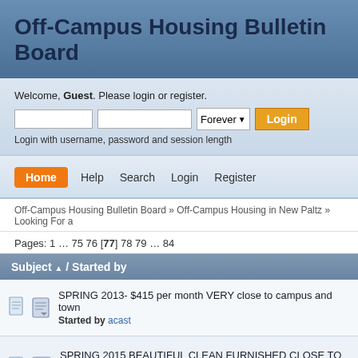Off-Campus Housing Bulletin Board
Welcome, Guest. Please login or register.
Login with username, password and session length
Home  Help  Search  Login  Register
Off-Campus Housing Bulletin Board » Off-Campus Housing in New Paltz » Looking For a
Pages: 1 … 75 76 [77] 78 79 … 84
| Subject / Started by |
| --- |
| SPRING 2013- $415 per month VERY close to campus and town
Started by acast |
| SPRING 2015 BEAUTIFUL CLEAN FURNISHED CLOSE TO CAMPUS ROOM $650
Started by shineju |